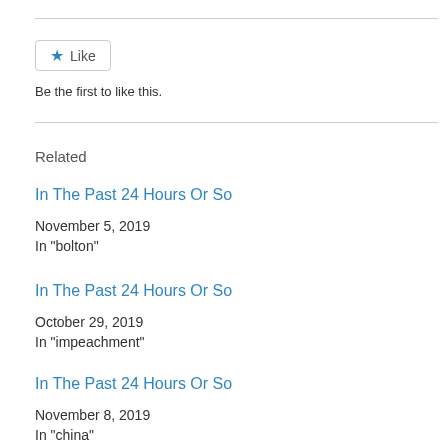[Figure (other): Like button with star icon]
Be the first to like this.
Related
In The Past 24 Hours Or So
November 5, 2019
In "bolton"
In The Past 24 Hours Or So
October 29, 2019
In "impeachment"
In The Past 24 Hours Or So
November 8, 2019
In "china"